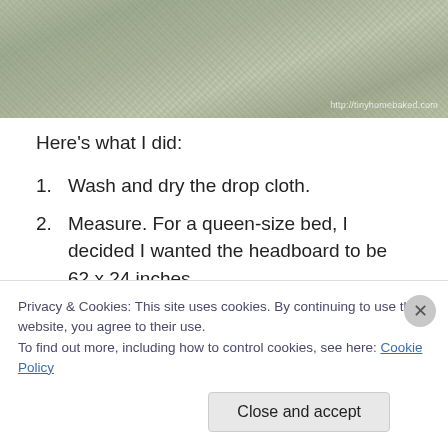[Figure (photo): Close-up photo of woven fabric or drop cloth texture with watermark 'http://tinyhomebaked.com']
Here's what I did:
Wash and dry the drop cloth.
Measure. For a queen-size bed, I decided I wanted the headboard to be 62 x 24 inches.
Cut the hollow core door to size. I had a 24-inch wide door, so only had to cut off one end with the jigsaw. I briefly sanded the rough edge and nailed a random
Privacy & Cookies: This site uses cookies. By continuing to use this website, you agree to their use.
To find out more, including how to control cookies, see here: Cookie Policy